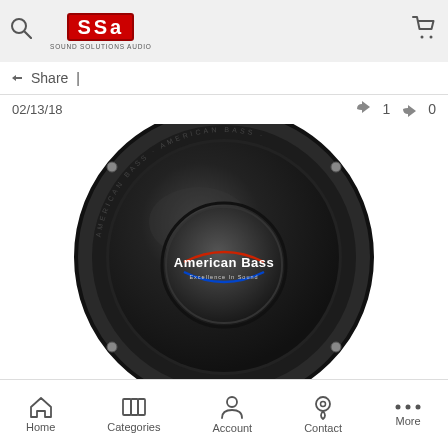SSA Sound Solutions Audio - navigation header with search and cart icons
Share |
02/13/18
1  0
[Figure (photo): American Bass subwoofer speaker viewed from front, showing black cone, surround, mounting ring with bolt holes, and center dust cap with American Bass logo (red, white and blue) and tagline 'Excellence In Sound']
Home  Categories  Account  Contact  More